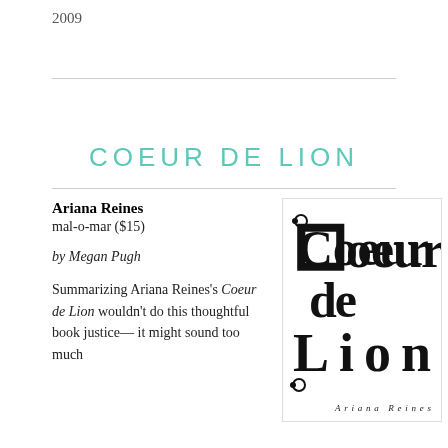2009
COEUR DE LION
Ariana Reines
mal-o-mar ($15)
by Megan Pugh
Summarizing Ariana Reines's Coeur de Lion wouldn't do this thoughtful book justice—it might sound too much like...
[Figure (illustration): Book cover of 'Coeur de Lion' by Ariana Reines, showing the title in large ornate blackletter gothic font with decorative flourishes, and the author name 'Ariana Reines' in small gothic text at the bottom right.]